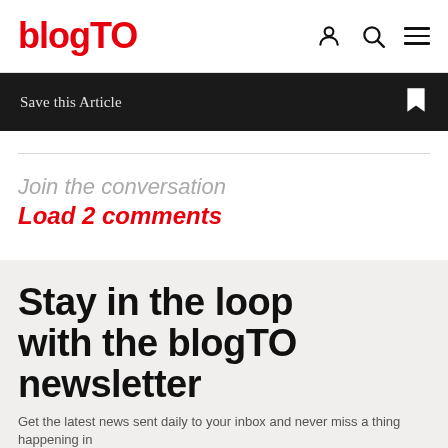blogTO
Save this Article
Join the conversation
Load 2 comments
Stay in the loop with the blogTO newsletter